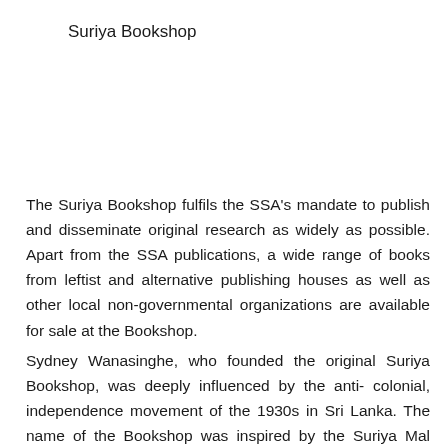Suriya Bookshop
The Suriya Bookshop fulfils the SSA's mandate to publish and disseminate original research as widely as possible. Apart from the SSA publications, a wide range of books from leftist and alternative publishing houses as well as other local non-governmental organizations are available for sale at the Bookshop.
Sydney Wanasinghe, who founded the original Suriya Bookshop, was deeply influenced by the anti- colonial, independence movement of the 1930s in Sri Lanka. The name of the Bookshop was inspired by the Suriya Mal movement